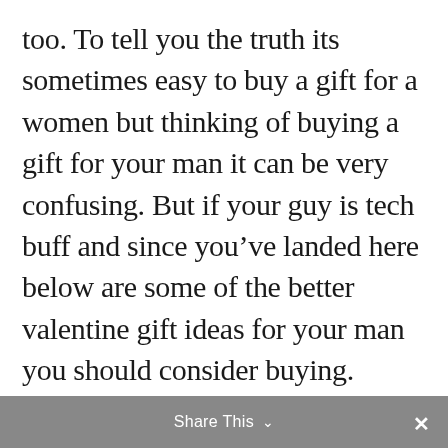too. To tell you the truth its sometimes easy to buy a gift for a women but thinking of buying a gift for your man it can be very confusing. But if your guy is tech buff and since you've landed here below are some of the better valentine gift ideas for your man you should consider buying.
Share This ∨  ✕